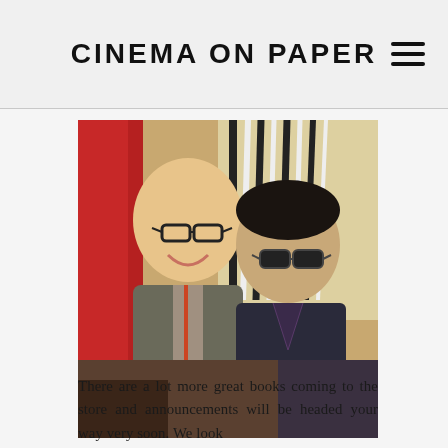CINEMA ON PAPER
[Figure (photo): Two men posing together for a photo. The man on the left is bald with glasses, wearing a jacket with a lanyard. The man on the right is older, wearing sunglasses and a dark jacket with a patterned collar. Background includes red and striped/palm decorative elements.]
There are a lot more great books coming to the store and announcements will be headed your way very soon. We look